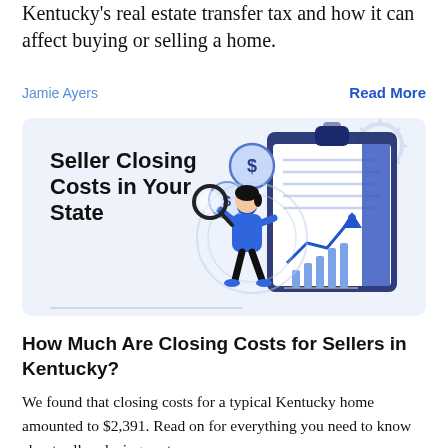Kentucky's real estate transfer tax and how it can affect buying or selling a home.
Jamie Ayers
Read More
[Figure (illustration): Illustration of a person holding a magnifying glass over a clipboard with financial charts and dollar coin symbols, labeled 'Seller Closing Costs in Your State' on a light blue background.]
How Much Are Closing Costs for Sellers in Kentucky?
We found that closing costs for a typical Kentucky home amounted to $2,391. Read on for everything you need to know about seller closing costs.